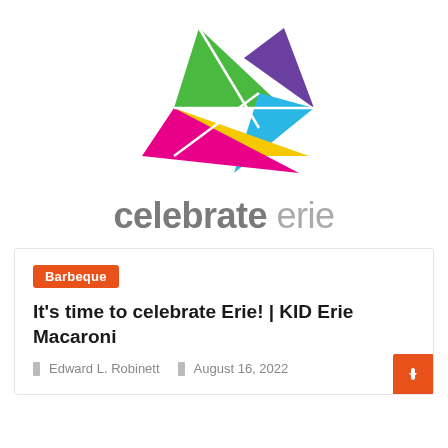[Figure (logo): Celebrate Erie logo: colorful geometric triangles (green, purple, blue, yellow, magenta) forming a star/arrow shape above the wordmark 'celebrate erie' in gray]
It's time to celebrate Erie! | KID Erie Macaroni
Barbeque
Edward L. Robinett  August 16, 2022